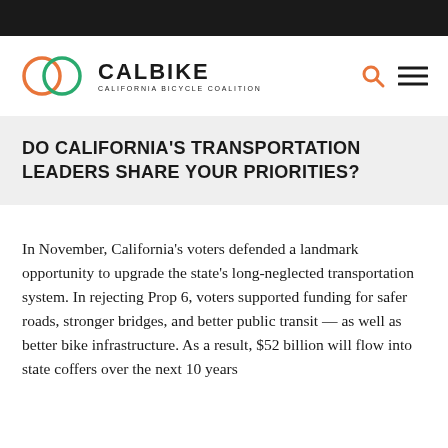[Figure (logo): CalBike - California Bicycle Coalition logo with two overlapping circles (orange and green) and the text CALBIKE CALIFORNIA BICYCLE COALITION]
DO CALIFORNIA'S TRANSPORTATION LEADERS SHARE YOUR PRIORITIES?
In November, California's voters defended a landmark opportunity to upgrade the state's long-neglected transportation system. In rejecting Prop 6, voters supported funding for safer roads, stronger bridges, and better public transit — as well as better bike infrastructure. As a result, $52 billion will flow into state coffers over the next 10 years specifically designated to transportation